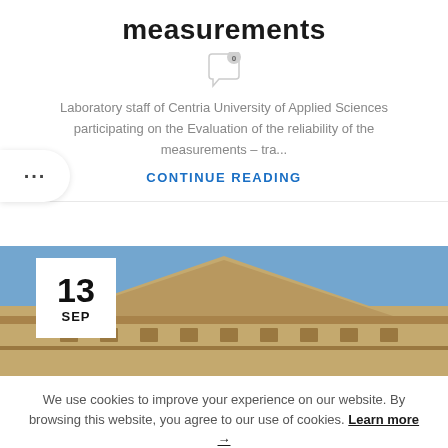measurements
[Figure (illustration): Comment/speech bubble icon with a '0' badge]
Laboratory staff of Centria University of Applied Sciences participating on the Evaluation of the reliability of the measurements – tra...
CONTINUE READING
[Figure (photo): Photograph of a classical building rooftop/pediment against a blue sky with a white date badge showing '13 SEP']
We use cookies to improve your experience on our website. By browsing this website, you agree to our use of cookies. Learn more →
ACCEPT